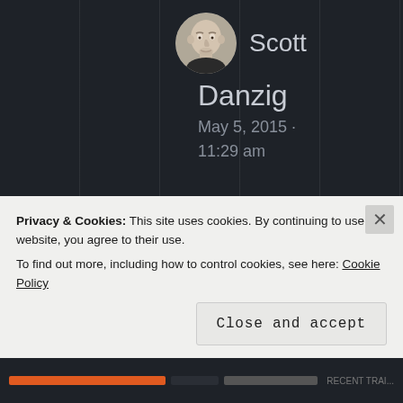[Figure (photo): Circular avatar photo of a man (Scott Danzig), bald, wearing dark clothing, light skin.]
Scott Danzig
May 5, 2015 · 11:29 am
Luna races sometimes too, which results in her outracing me and me
Privacy & Cookies: This site uses cookies. By continuing to use this website, you agree to their use.
To find out more, including how to control cookies, see here: Cookie Policy
Close and accept